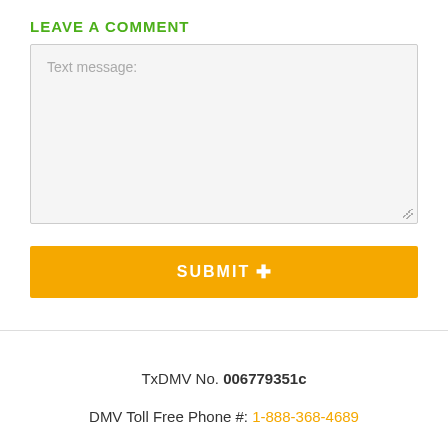LEAVE A COMMENT
[Figure (screenshot): Text area input box with placeholder text 'Text message:' on a light gray background with a resize handle in the bottom-right corner]
[Figure (screenshot): Yellow/orange submit button with text 'SUBMIT +' in white bold uppercase letters]
TxDMV No. 006779351c
DMV Toll Free Phone #: 1-888-368-4689